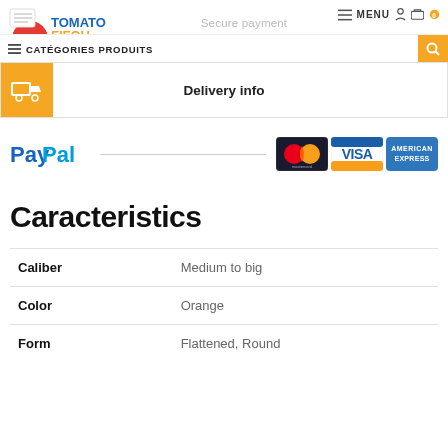[Figure (logo): TomatoFifou L'Association logo with tomato icon]
Secure payment
MENU
CATÉGORIES PRODUITS
[Figure (illustration): Orange delivery truck icon]
Delivery info
[Figure (logo): PayPal logo and credit card logos: MasterCard, VISA, American Express]
Caracteristics
|  |  |
| --- | --- |
| Caliber | Medium to big |
| Color | Orange |
| Form | Flattened, Round |